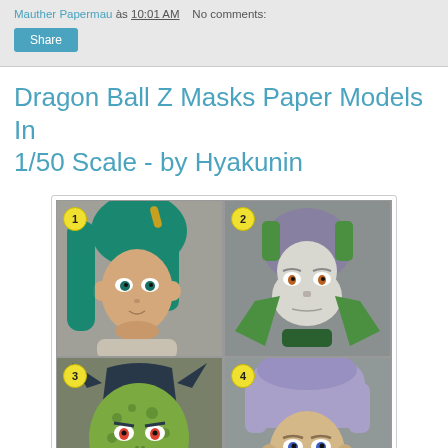Mauther Papermau às 10:01 AM   No comments:
Share
Dragon Ball Z Masks Paper Models In 1/50 Scale - by Hyakunin
[Figure (photo): A 2x2 grid of Dragon Ball Z paper mask models. Cell 1 (top-left): green-haired female character mask. Cell 2 (top-right): Piccolo mask, green with pointed ears. Cell 3 (bottom-left): Cell character mask, green with spots. Cell 4 (bottom-right): Trunks character mask, light purple hair. Each cell has a yellow numbered badge (1-4). Photobucket watermark visible.]